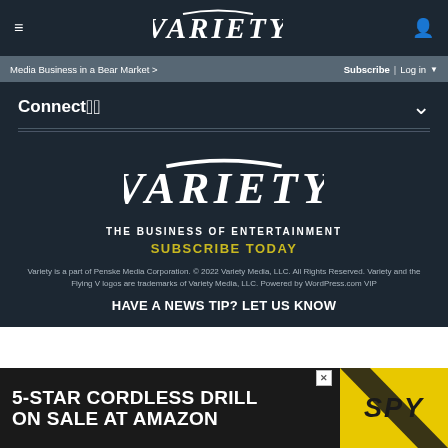≡  VARIETY  👤
Media Business in a Bear Market >  Subscribe | Log in ▼
Connect ∨
[Figure (logo): Variety logo — THE BUSINESS OF ENTERTAINMENT]
SUBSCRIBE TODAY
Variety is a part of Penske Media Corporation. © 2022 Variety Media, LLC. All Rights Reserved. Variety and the Flying V logos are trademarks of Variety Media, LLC. Powered by WordPress.com VIP
HAVE A NEWS TIP? LET US KNOW
[Figure (infographic): Advertisement banner: 5-STAR CORDLESS DRILL ON SALE AT AMAZON / SPY logo on yellow background]